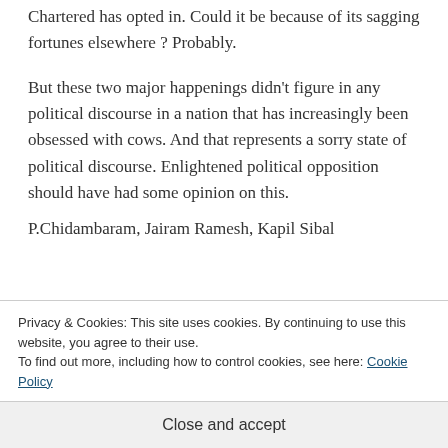Chartered has opted in. Could it be because of its sagging fortunes elsewhere ? Probably.
But these two major happenings didn’t figure in any political discourse in a nation that has increasingly been obsessed with cows. And that represents a sorry state of political discourse. Enlightened political opposition should have had some opinion on this.
P.Chidambaram, Jairam Ramesh, Kapil Sibal
Privacy & Cookies: This site uses cookies. By continuing to use this website, you agree to their use.
To find out more, including how to control cookies, see here: Cookie Policy
Close and accept